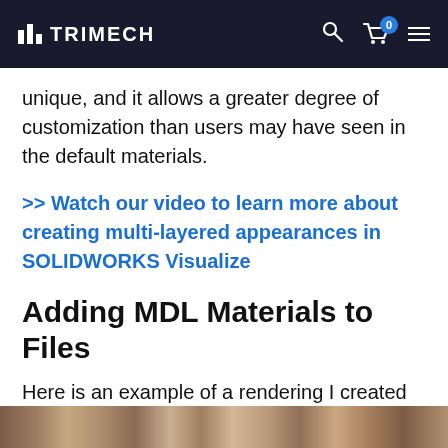TRIMECH
unique, and it allows a greater degree of customization than users may have seen in the default materials.
>> Watch our video to learn more about creating multi-layered appearances in SOLIDWORKS Visualize
Adding MDL Materials to Files
Here is an example of a rendering I created using the default materials:
[Figure (photo): A photo showing a rendered interior scene using default materials in SOLIDWORKS Visualize]